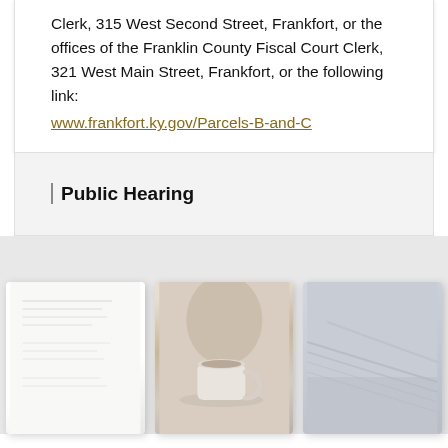Clerk, 315 West Second Street, Frankfort, or the offices of the Franklin County Fiscal Court Clerk, 321 West Main Street, Frankfort, or the following link:
www.frankfort.ky.gov/Parcels-B-and-C
Public Hearing
[Figure (photo): White/light paper document photo]
[Figure (photo): Coffee cup on light background photo]
[Figure (photo): Close-up of textured surface or book photo]